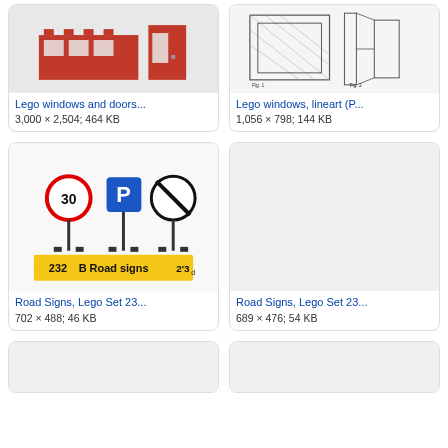[Figure (photo): Lego windows and doors pieces, red plastic parts photo]
Lego windows and doors...
3,000 × 2,504; 464 KB
[Figure (schematic): Lego windows, lineart patent drawing]
Lego windows, lineart (P...
1,056 × 798; 144 KB
[Figure (photo): Road Signs, Lego Set 232 - showing three road sign pieces and yellow box label]
Road Signs, Lego Set 23...
702 × 488; 46 KB
[Figure (photo): Road Signs, Lego Set 232 - second image, empty/loading]
Road Signs, Lego Set 23...
689 × 476; 54 KB
[Figure (photo): Bottom left partial card - empty]
[Figure (photo): Bottom right partial card - empty]